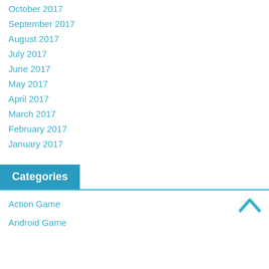October 2017
September 2017
August 2017
July 2017
June 2017
May 2017
April 2017
March 2017
February 2017
January 2017
Categories
Action Game
Android Game